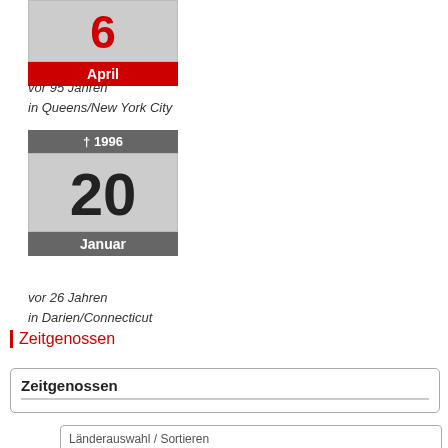[Figure (other): Red calendar widget showing day number 6 and month April]
vor 95 Jahren
in Queens/New York City
[Figure (other): Grey calendar widget showing † 1996, day 20, month Januar]
vor 26 Jahren
in Darien/Connecticut
Zeitgenossen
Zeitgenossen
Länderauswahl / Sortieren
USA — dropdown, Name radio, Geburtsjahr radio, Lebensjahre radio, sort buttons ↑ ↓